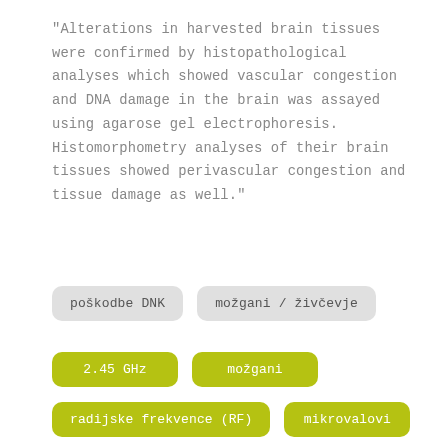"Alterations in harvested brain tissues were confirmed by histopathological analyses which showed vascular congestion and DNA damage in the brain was assayed using agarose gel electrophoresis. Histomorphometry analyses of their brain tissues showed perivascular congestion and tissue damage as well."
poškodbe DNK
možgani / živčevje
2.45 GHz
možgani
radijske frekvence (RF)
mikrovalovi